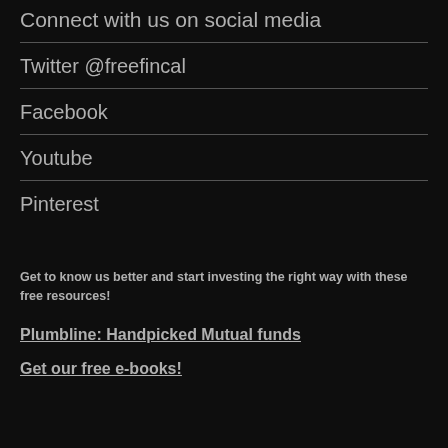Connect with us on social media
Twitter @freefincal
Facebook
Youtube
Pinterest
Get to know us better and start investing the right way with these free resources!
Plumbline: Handpicked Mutual funds
Get our free e-books!